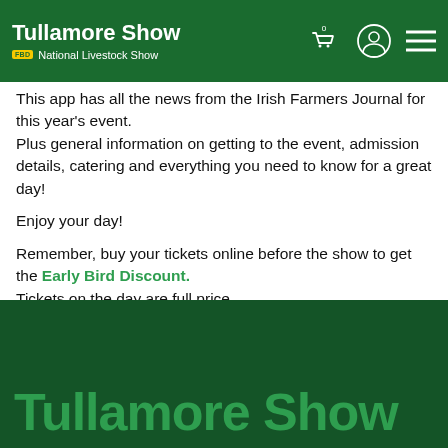Tullamore Show – National Livestock Show
This app has all the news from the Irish Farmers Journal for this year's event.
Plus general information on getting to the event, admission details, catering and everything you need to know for a great day!
Enjoy your day!
Remember, buy your tickets online before the show to get the Early Bird Discount.
Tickets on the day are full price.
Tullamore Show